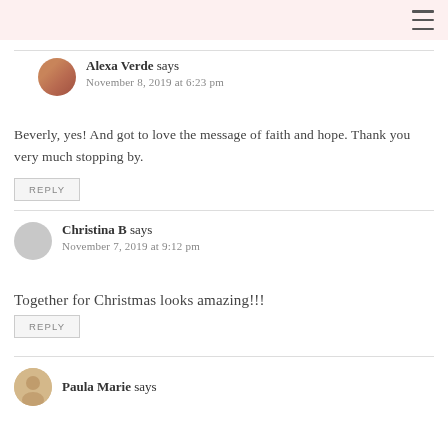Alexa Verde says
November 8, 2019 at 6:23 pm
Beverly, yes! And got to love the message of faith and hope. Thank you very much stopping by.
REPLY
Christina B says
November 7, 2019 at 9:12 pm
Together for Christmas looks amazing!!!
REPLY
Paula Marie says